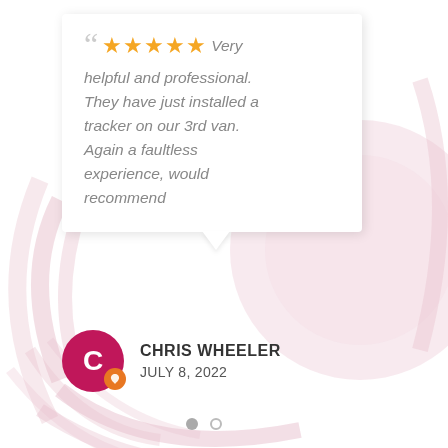[Figure (infographic): Customer review card with 5 gold stars, italic review text in grey, a pink circular avatar with letter C and an orange badge, reviewer name CHRIS WHEELER and date JULY 8, 2022, and two pagination dots. Decorative pink arc/circle shapes in background.]
Very helpful and professional. They have just installed a tracker on our 3rd van. Again a faultless experience, would recommend
CHRIS WHEELER
JULY 8, 2022